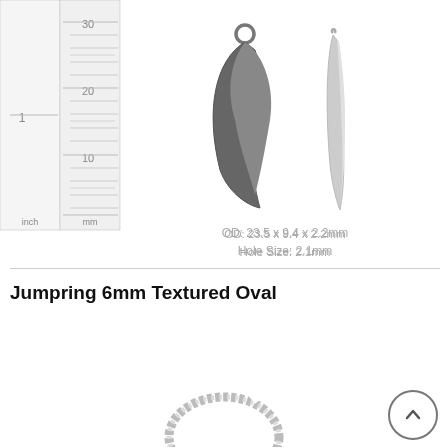[Figure (photo): Ruler showing inch and mm scales alongside two silver crescent moon charm pendants, front and side views]
OD: 23.5 x 9.4 x 2.2mm
Hole Size: 2.1mm
Jumpring 6mm Textured Oval
[Figure (photo): Silver textured oval jumpring shown from above, partially cut off at bottom of page]